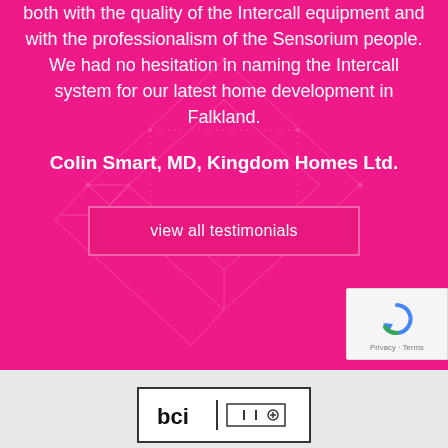both with the quality of the Intercall equipment and with the professionalism of the Sensorium people. We had no hesitation in naming the Intercall system for our latest home development in Falkland.
Colin Smart, MD, Kingdom Homes Ltd.
view all testimonials
[Figure (logo): Company logo in a rectangular box at the bottom of the page]